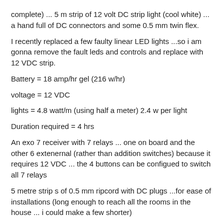complete) ... 5 m strip of 12 volt DC strip light (cool white) ... a hand full of DC connectors and some 0.5 mm twin flex.
I recently replaced a few faulty linear LED lights ...so i am gonna remove the fault leds and controls and replace with 12 VDC strip.
Battery = 18 amp/hr gel (216 w/hr)
voltage = 12 VDC
lights = 4.8 watt/m (using half a meter) 2.4 w per light
Duration required = 4 hrs
An exo 7 receiver with 7 relays ... one on board and the other 6 extenernal (rather than addition switches) because it requires 12 VDC ... the 4 buttons can be configued to switch all 7 relays
5 metre strip s of 0.5 mm ripcord with DC plugs ...for ease of installations (long enough to reach all the rooms in the house ... i could make a few shorter)
All this for around R 12-1500.
calculations: